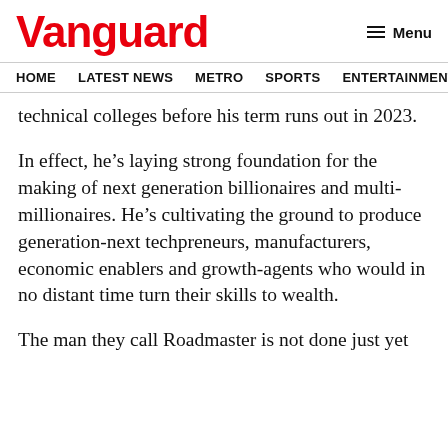Vanguard
HOME  LATEST NEWS  METRO  SPORTS  ENTERTAINMENT  VIDEOS
technical colleges before his term runs out in 2023.
In effect, he’s laying strong foundation for the making of next generation billionaires and multi-millionaires. He’s cultivating the ground to produce generation-next techpreneurs, manufacturers, economic enablers and growth-agents who would in no distant time turn their skills to wealth.
The man they call Roadmaster is not done just yet